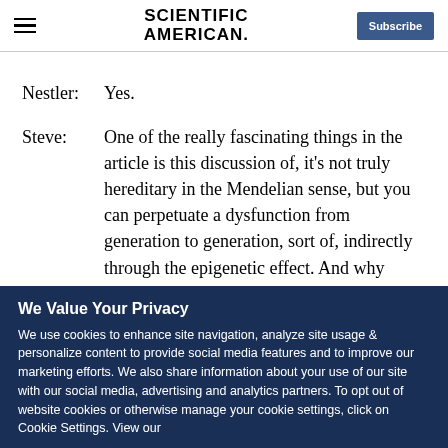SCIENTIFIC AMERICAN
Nestler:  Yes.
Steve:  One of the really fascinating things in the article is this discussion of, it's not truly hereditary in the Mendelian sense, but you can perpetuate a dysfunction from generation to generation, sort of, indirectly through the epigenetic effect. And why don't
We Value Your Privacy
We use cookies to enhance site navigation, analyze site usage & personalize content to provide social media features and to improve our marketing efforts. We also share information about your use of our site with our social media, advertising and analytics partners. To opt out of website cookies or otherwise manage your cookie settings, click on Cookie Settings. View our